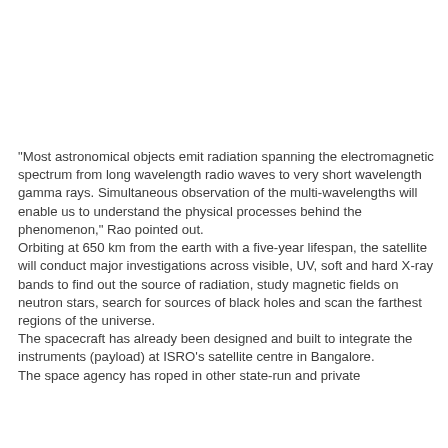"Most astronomical objects emit radiation spanning the electromagnetic spectrum from long wavelength radio waves to very short wavelength gamma rays. Simultaneous observation of the multi-wavelengths will enable us to understand the physical processes behind the phenomenon," Rao pointed out.
Orbiting at 650 km from the earth with a five-year lifespan, the satellite will conduct major investigations across visible, UV, soft and hard X-ray bands to find out the source of radiation, study magnetic fields on neutron stars, search for sources of black holes and scan the farthest regions of the universe.
The spacecraft has already been designed and built to integrate the instruments (payload) at ISRO's satellite centre in Bangalore.
The space agency has roped in other state-run and private...